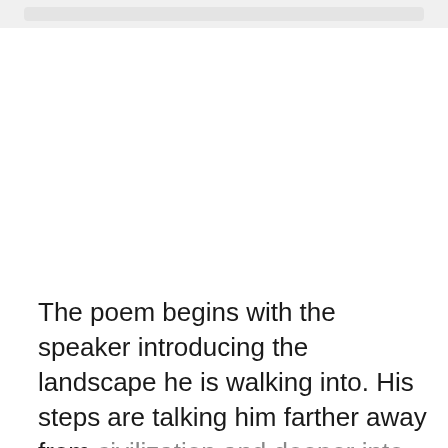[Figure (other): Top bar / decorative UI element with rounded rectangle]
The poem begins with the speaker introducing the landscape he is walking into. His steps are talking him farther away from civilization and deeper into ever growing darkness. Once he is truly distant from the